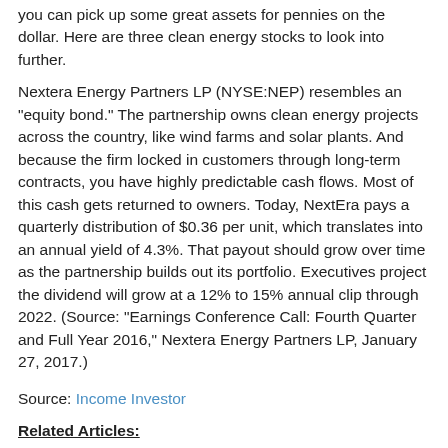you can pick up some great assets for pennies on the dollar. Here are three clean energy stocks to look into further.
Nextera Energy Partners LP (NYSE:NEP) resembles an “equity bond.” The partnership owns clean energy projects across the country, like wind farms and solar plants. And because the firm locked in customers through long-term contracts, you have highly predictable cash flows. Most of this cash gets returned to owners. Today, NextEra pays a quarterly distribution of $0.36 per unit, which translates into an annual yield of 4.3%. That payout should grow over time as the partnership builds out its portfolio. Executives project the dividend will grow at a 12% to 15% annual clip through 2022. (Source: “Earnings Conference Call: Fourth Quarter and Full Year 2016,” Nextera Energy Partners LP, January 27, 2017.)
Source: Income Investor
Related Articles:
- Love People, Use Dividend Stocks
- We Were Dividends, Before Dividends Were Cool